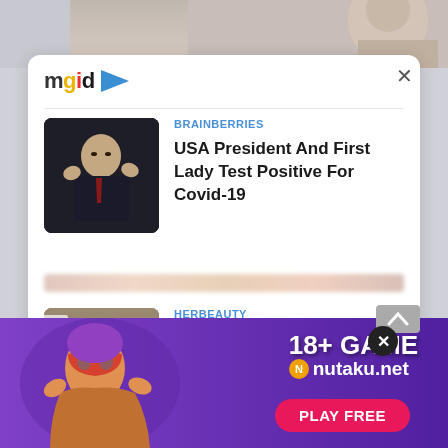[Figure (screenshot): MGID content recommendation widget showing two news articles. First article from BRAINBERRIES: 'USA President And First Lady Test Positive For Covid-19'. Second article from HERBEAUTY: 'The 9 Closet Essentials That Will Change Your Life As A Curvy'. Below is an adult game advertisement for nutaku.net showing '18+ GAME nutaku.net PLAY FREE'.]